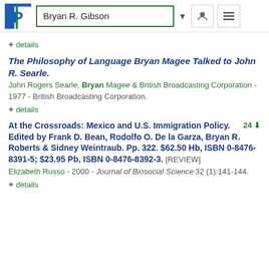Bryan R. Gibson
+ details
The Philosophy of Language Bryan Magee Talked to John R. Searle.
John Rogers Searle, Bryan Magee & British Broadcasting Corporation - 1977 - British Broadcasting Corporation.
+ details
At the Crossroads: Mexico and U.S. Immigration Policy. Edited by Frank D. Bean, Rodolfo O. De la Garza, Bryan R. Roberts & Sidney Weintraub. Pp. 322. $62.50 Hb, ISBN 0-8476-8391-5; $23.95 Pb, ISBN 0-8476-8392-3. [REVIEW]
Elizabeth Russo - 2000 - Journal of Biosocial Science 32 (1):141-144.
+ details